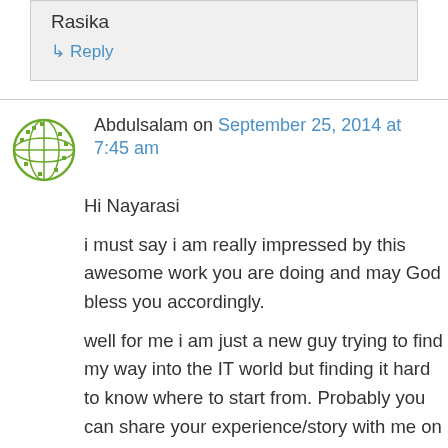Rasika
↳ Reply
Abdulsalam on September 25, 2014 at 7:45 am
Hi Nayarasi
i must say i am really impressed by this awesome work you are doing and may God bless you accordingly.
well for me i am just a new guy trying to find my way into the IT world but finding it hard to know where to start from. Probably you can share your experience/story with me on how you started step by step. And any advice from you on being a successful system administrator ( having a successful career in IT) will be highly